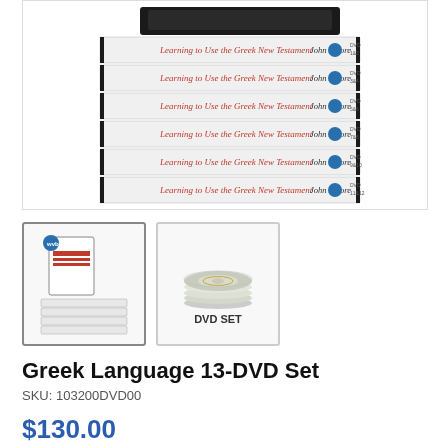[Figure (photo): Stack of 6 DVD cases labeled 'Learning to Use the Greek New Testament John Moore' with DVD logos on spines, stacked horizontally]
[Figure (photo): Thumbnail of the DVD set product showing book and stacked DVD cases]
[Figure (photo): Thumbnail showing a stack of DVDs with text 'DVD SET' below]
Greek Language 13-DVD Set
SKU: 103200DVD00
$130.00